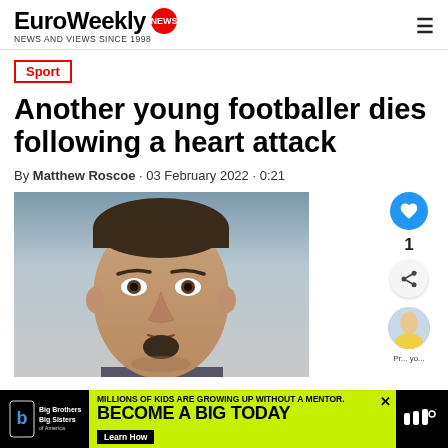EuroWeekly NEWS - NEWS AND VIEWS SINCE 1998
Sport
Another young footballer dies following a heart attack
By Matthew Roscoe · 03 February 2022 · 0:21
[Figure (photo): Close-up portrait photo of a young man with short dark hair and a goatee beard]
MILLIONS OF KIDS ARE GROWING UP WITHOUT A MENTOR. BECOME A BIG TODAY. Learn How